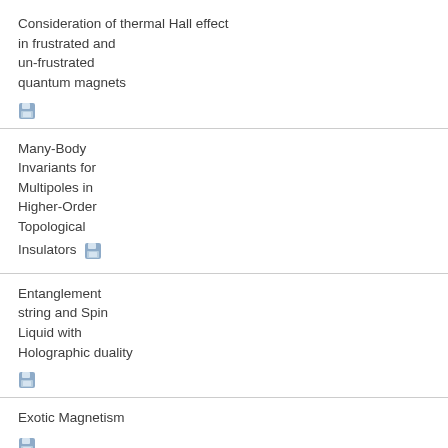Consideration of thermal Hall effect in frustrated and un-frustrated quantum magnets
Many-Body Invariants for Multipoles in Higher-Order Topological Insulators
Entanglement string and Spin Liquid with Holographic duality
Exotic Magnetism
Ultrafast time- and angle-resolved photoemission